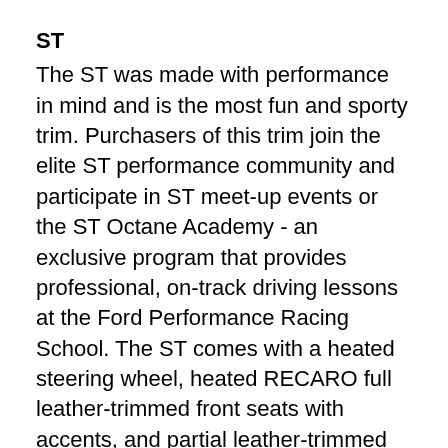ST
The ST was made with performance in mind and is the most fun and sporty trim. Purchasers of this trim join the elite ST performance community and participate in ST meet-up events or the ST Octane Academy - an exclusive program that provides professional, on-track driving lessons at the Ford Performance Racing School. The ST comes with a heated steering wheel, heated RECARO full leather-trimmed front seats with accents, and partial leather-trimmed rear seats.
The exterior highlights the sporty design with its performance-inspired rear spoiler, bright-tipped center-exit exhaust, and LED signature